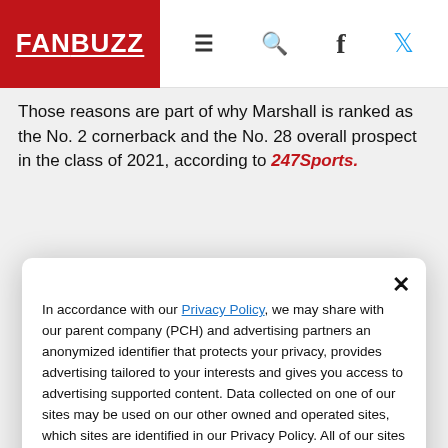FANBUZZ [hamburger] [search] [facebook] [twitter]
Those reasons are part of why Marshall is ranked as the No. 2 cornerback and the No. 28 overall prospect in the class of 2021, according to 247Sports.
In accordance with our Privacy Policy, we may share with our parent company (PCH) and advertising partners an anonymized identifier that protects your privacy, provides advertising tailored to your interests and gives you access to advertising supported content. Data collected on one of our sites may be used on our other owned and operated sites, which sites are identified in our Privacy Policy. All of our sites are governed by the same Privacy Policy, and by proceeding to access this site, you are consenting to that Privacy Policy.